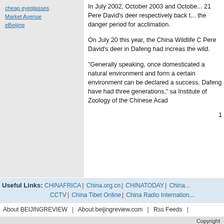cheap eyeglasses
Market Avenue
eBeijing
In July 2002, October 2003 and October 21 Pere David's deer respectively back the danger period for acclimation.
On July 20 this year, the China Wildlife C Pere David's deer in Dafeng had increas the wild.
"Generally speaking, once domesticated a natural environment and form a certain environment can be declared a success. Dafeng have had three generations," sa Institute of Zoology of the Chinese Acad
1
Useful Links: CHINAFRICA | China.org.cn | CHINATODAY | China CCTV | China Tibet Online | China Radio International
About BEIJINGREVIEW | About beijingreview.com | Rss Feeds |
Copyright